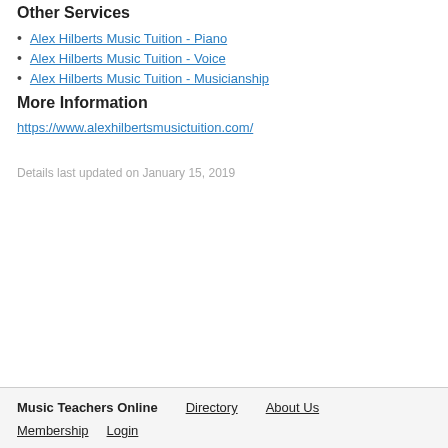Other Services
Alex Hilberts Music Tuition - Piano
Alex Hilberts Music Tuition - Voice
Alex Hilberts Music Tuition - Musicianship
More Information
https://www.alexhilbertsmusictuition.com/
Details last updated on January 15, 2019
Music Teachers Online   Directory   About Us   Membership   Login